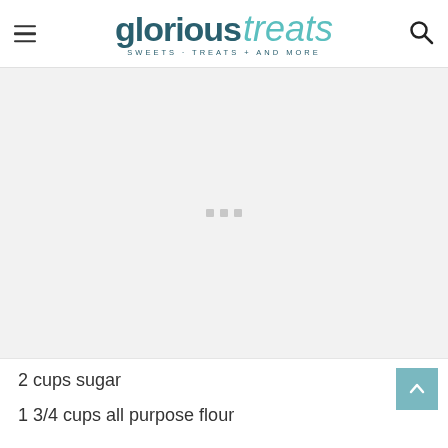glorioustreats — SWEETS · TREATS + AND MORE
[Figure (other): Gray placeholder advertisement area with three small gray square dots in the center]
2 cups sugar
1 3/4 cups all purpose flour